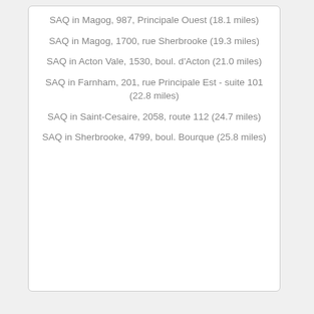SAQ in Magog, 987, Principale Ouest (18.1 miles)
SAQ in Magog, 1700, rue Sherbrooke (19.3 miles)
SAQ in Acton Vale, 1530, boul. d'Acton (21.0 miles)
SAQ in Farnham, 201, rue Principale Est - suite 101 (22.8 miles)
SAQ in Saint-Cesaire, 2058, route 112 (24.7 miles)
SAQ in Sherbrooke, 4799, boul. Bourque (25.8 miles)